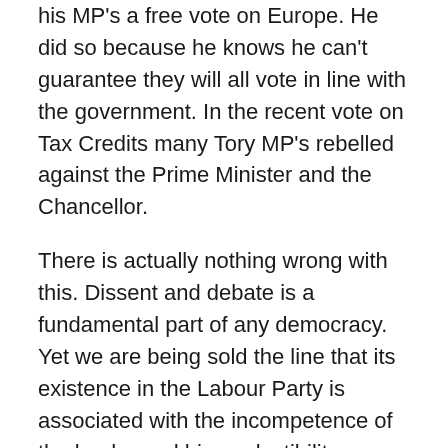his MP's a free vote on Europe. He did so because he knows he can't guarantee they will all vote in line with the government. In the recent vote on Tax Credits many Tory MP's rebelled against the Prime Minister and the Chancellor.
There is actually nothing wrong with this. Dissent and debate is a fundamental part of any democracy. Yet we are being sold the line that its existence in the Labour Party is associated with the incompetence of the leader and his unelectibility.
However, in the event of similar dissent in the Tory Party the media pay it only limited attention. Or, in the case of one right-wing paper today, portray the PM's climb down as a ‘victory for democracy’.
So we come to the shadow cabinet. Jeremy Corbyn was